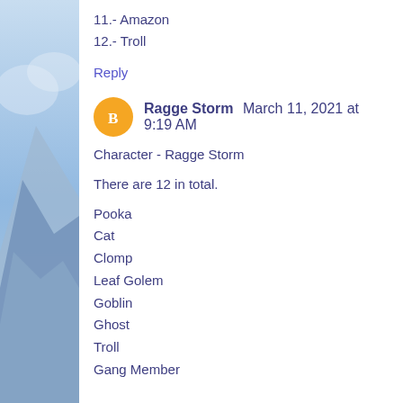11.- Amazon
12.- Troll
Reply
Ragge Storm March 11, 2021 at 9:19 AM
Character - Ragge Storm
There are 12 in total.
Pooka
Cat
Clomp
Leaf Golem
Goblin
Ghost
Troll
Gang Member